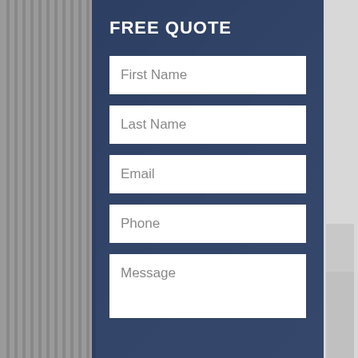FREE QUOTE
First Name
Last Name
Email
Phone
Message